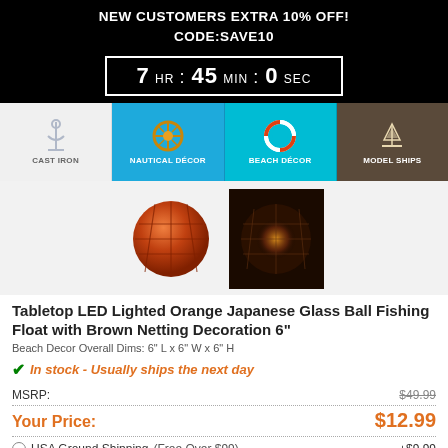NEW CUSTOMERS EXTRA 10% OFF!
CODE:SAVE10
7 HR : 45 MIN : 0 SEC
[Figure (infographic): Navigation category bar with four icons: Cast Iron (anchor), Nautical Décor (ship wheel), Beach Décor (life preserver), Model Ships (sailboat)]
[Figure (photo): Two product photos of orange Japanese glass ball fishing float with brown netting]
Tabletop LED Lighted Orange Japanese Glass Ball Fishing Float with Brown Netting Decoration 6"
Beach Decor Overall Dims: 6" L x 6" W x 6" H
In stock - Usually ships the next day
|  |  |
| --- | --- |
| MSRP: | $49.99 |
| Your Price: | $12.99 |
USA Ground Shipping (Free Over $99)  +$9.99
USA Express Shipping Rates
Total Price: